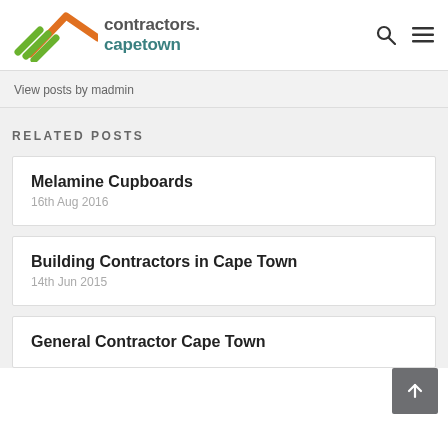contractors.capetown
View posts by madmin
RELATED POSTS
Melamine Cupboards
16th Aug 2016
Building Contractors in Cape Town
14th Jun 2015
General Contractor Cape Town